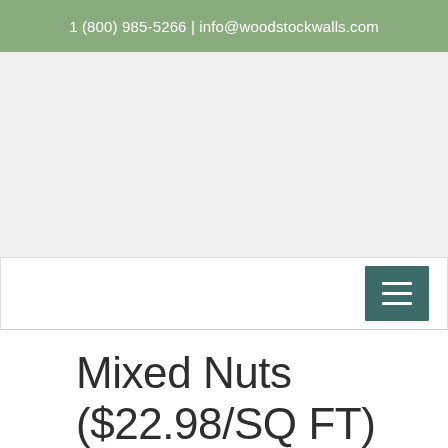1 (800) 985-5266 | info@woodstockwalls.com
[Figure (screenshot): Gray placeholder area representing a navigation/image area with a white navigation bar at the bottom containing a dark teal hamburger menu button on the right side.]
Mixed Nuts ($22.98/SQ FT)